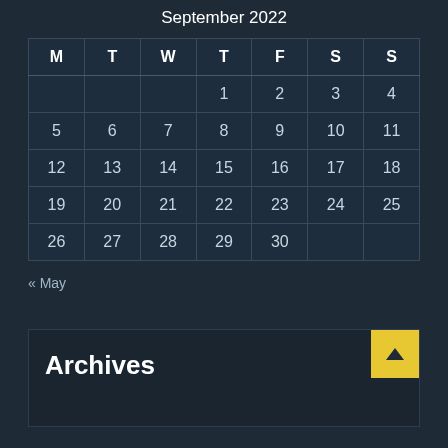September 2022
| M | T | W | T | F | S | S |
| --- | --- | --- | --- | --- | --- | --- |
|  |  |  | 1 | 2 | 3 | 4 |
| 5 | 6 | 7 | 8 | 9 | 10 | 11 |
| 12 | 13 | 14 | 15 | 16 | 17 | 18 |
| 19 | 20 | 21 | 22 | 23 | 24 | 25 |
| 26 | 27 | 28 | 29 | 30 |  |  |
« May
Archives